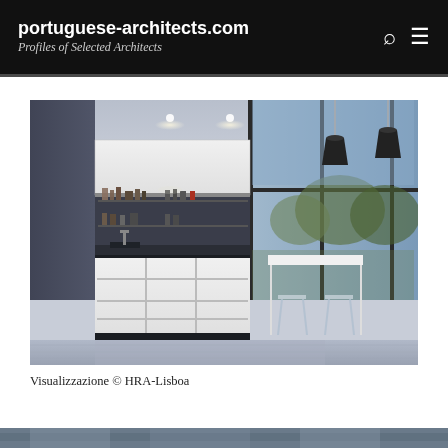portuguese-architects.com
Profiles of Selected Architects
[Figure (photo): Architectural visualization of a modern kitchen interior with white flat-front cabinets, dark countertops, open shelving with dishware, large floor-to-ceiling windows overlooking greenery at dusk, two black pendant lights, a white island/bar table with transparent stools, and polished concrete floor. Rendered by HRA-Lisboa.]
Visualizzazione © HRA-Lisboa